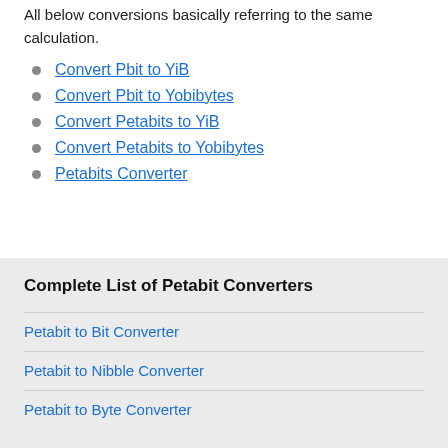All below conversions basically referring to the same calculation.
Convert Pbit to YiB
Convert Pbit to Yobibytes
Convert Petabits to YiB
Convert Petabits to Yobibytes
Petabits Converter
Complete List of Petabit Converters
Petabit to Bit Converter
Petabit to Nibble Converter
Petabit to Byte Converter